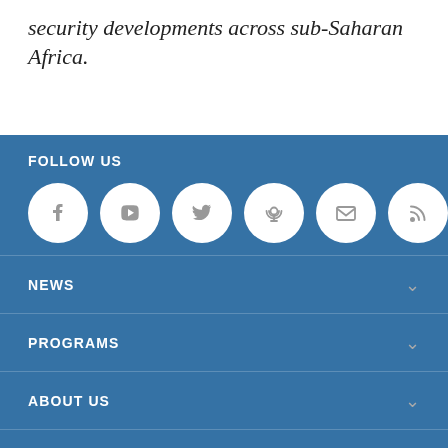security developments across sub-Saharan Africa.
FOLLOW US
[Figure (other): Social media icon row: Facebook, YouTube, Twitter, Podcast, Email, RSS — white circles on blue background]
NEWS
PROGRAMS
ABOUT US
VOA AFRICA